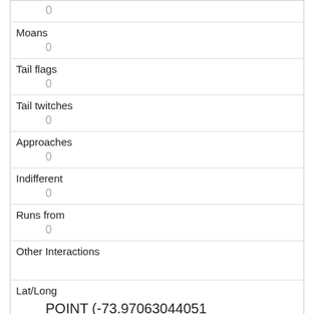|  | 0 |
| Moans | 0 |
| Tail flags | 0 |
| Tail twitches | 0 |
| Approaches | 0 |
| Indifferent | 0 |
| Runs from | 0 |
| Other Interactions |  |
| Lat/Long | POINT (-73.97063044051 40.7771060594808) |
| Link | 2938 |
| rowid |  |